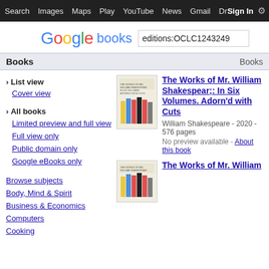Search  Images  Maps  Play  YouTube  News  Gmail  Drive  More  Sign In  ⚙
[Figure (logo): Google books logo with colorful Google letters and blue 'books' text, followed by search box with 'editions:OCLC1243249']
Books    Books
› List view
Cover view
› All books
Limited preview and full view
Full view only
Public domain only
Google eBooks only
Browse subjects
Body, Mind & Spirit
Business & Economics
Computers
Cooking
[Figure (photo): Book cover of The Works of Mr. William Shakespear with colorful vertical bars]
The Works of Mr. William Shakespear;: In Six Volumes. Adorn'd with Cuts
William Shakespeare - 2020 - 576 pages
No preview available - About this book
[Figure (photo): Second book cover of The Works of Mr. William with colorful vertical bars]
The Works of Mr. William